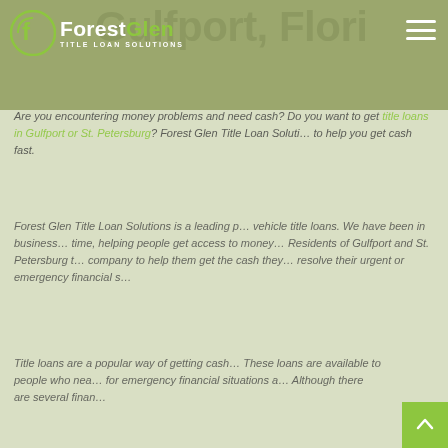Gulfport, Florida
[Figure (logo): Forest Glen Title Loan Solutions logo with circular F icon, white and green text on olive/green header background]
Are you encountering money problems and need cash? Do you want to get title loans in Gulfport or St. Petersburg? Forest Glen Title Loan Solutions is here to help you get cash fast.
Forest Glen Title Loan Solutions is a leading provider of vehicle title loans. We have been in business for a long time, helping people get access to money when they need it. Residents of Gulfport and St. Petersburg trust our company to help them get the cash they need to resolve their urgent or emergency financial situations.
Title loans are a popular way of getting cash fast. These loans are available to people who need money for emergency financial situations and the like. Although there are several financial...